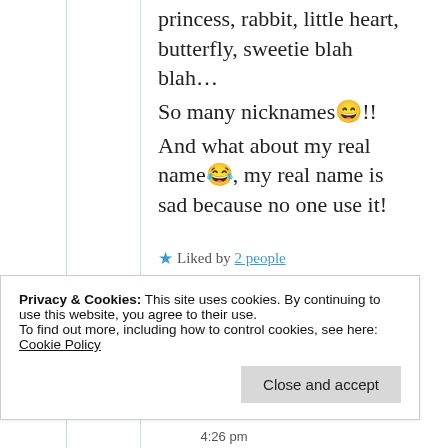princess, rabbit, little heart, butterfly, sweetie blah blah… So many nicknames😄!! And what about my real name😂, my real name is sad because no one use it!
★ Liked by 2 people
Privacy & Cookies: This site uses cookies. By continuing to use this website, you agree to their use. To find out more, including how to control cookies, see here: Cookie Policy
4:26 pm